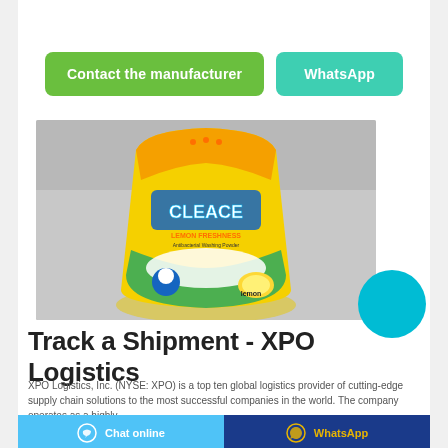Contact the manufacturer
WhatsApp
[Figure (photo): A yellow bag of Cleace Lemon Freshness antibacterial washing powder product shot on a gray background]
Track a Shipment - XPO Logistics
XPO Logistics, Inc. (NYSE: XPO) is a top ten global logistics provider of cutting-edge supply chain solutions to the most successful companies in the world. The company operates as a highly
Chat online
WhatsApp